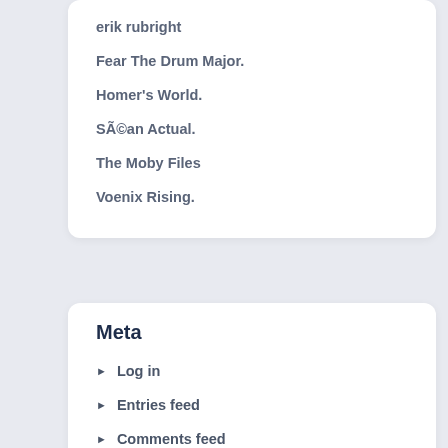erik rubright
Fear The Drum Major.
Homer's World.
SÃ©an Actual.
The Moby Files
Voenix Rising.
Meta
Log in
Entries feed
Comments feed